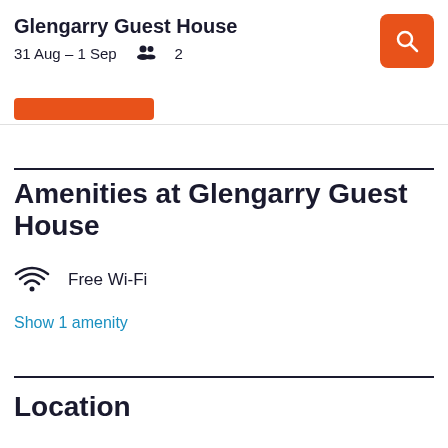Glengarry Guest House
31 Aug – 1 Sep  2
Amenities at Glengarry Guest House
Free Wi-Fi
Show 1 amenity
Location